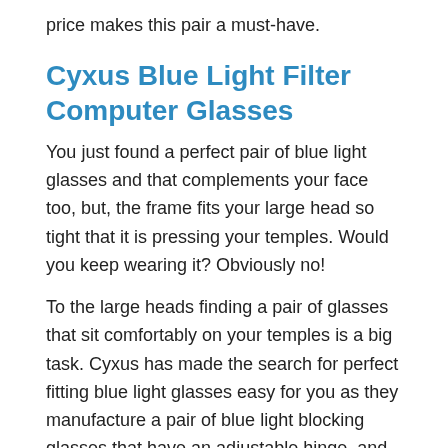price makes this pair a must-have.
Cyxus Blue Light Filter Computer Glasses
You just found a perfect pair of blue light glasses and that complements your face too, but, the frame fits your large head so tight that it is pressing your temples. Would you keep wearing it? Obviously no!
To the large heads finding a pair of glasses that sit comfortably on your temples is a big task. Cyxus has made the search for perfect fitting blue light glasses easy for you as they manufacture a pair of blue light blocking glasses that have an adjustable hinge, and its shape is perfect for wider faces.